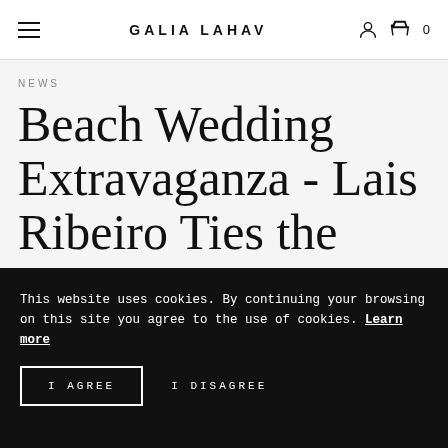GALIA LAHAV
NEWS
Beach Wedding Extravaganza - Lais Ribeiro Ties the Knot In Two Custom GL Gowns!
This website uses cookies. By continuing your browsing on this site you agree to the use of cookies. Learn more
I AGREE   I DISAGREE